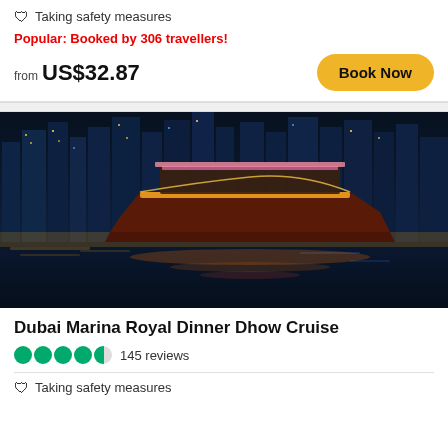Taking safety measures
Popular: Booked by 306 travellers!
from US$32.87
Book Now
[Figure (photo): Night photo of an illuminated dhow cruise boat on Dubai Marina with lit skyscrapers in background and colorful reflections on water]
Dubai Marina Royal Dinner Dhow Cruise
145 reviews
Taking safety measures